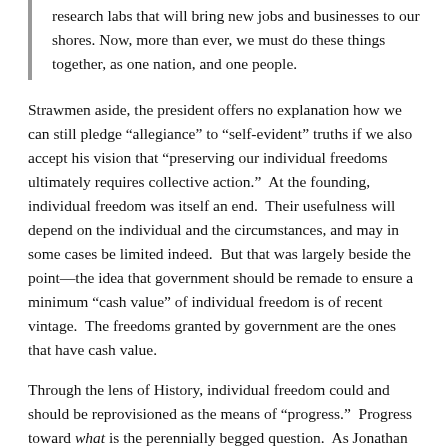research labs that will bring new jobs and businesses to our shores. Now, more than ever, we must do these things together, as one nation, and one people.
Strawmen aside, the president offers no explanation how we can still pledge “allegiance” to “self-evident” truths if we also accept his vision that “preserving our individual freedoms ultimately requires collective action.”  At the founding, individual freedom was itself an end.  Their usefulness will depend on the individual and the circumstances, and may in some cases be limited indeed.  But that was largely beside the point—the idea that government should be remade to ensure a minimum “cash value” of individual freedom is of recent vintage.  The freedoms granted by government are the ones that have cash value.
Through the lens of History, individual freedom could and should be reprovisioned as the means of “progress.”  Progress toward what is the perennially begged question.  As Jonathan Chait attempted to explain, “For us [liberals], everything works on a case-by-case basis. Should government provide everybody’s education? Yes. Should government